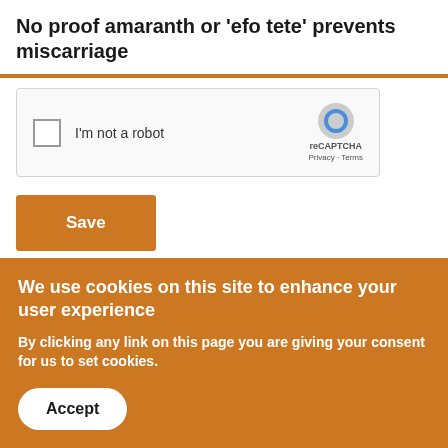No proof amaranth or 'efo tete' prevents miscarriage
[Figure (screenshot): reCAPTCHA widget with checkbox labeled 'I'm not a robot' and reCAPTCHA logo with Privacy and Terms links]
Save
Sign up to our newsletter
We use cookies on this site to enhance your user experience
By clicking any link on this page you are giving your consent for us to set cookies.
Accept